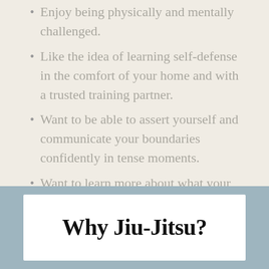Enjoy being physically and mentally challenged.
Like the idea of learning self-defense in the comfort of your home and with a trusted training partner.
Want to be able to assert yourself and communicate your boundaries confidently in tense moments.
Want to learn more about what your body is capable of.
Want to join a global community of martial artists who work together to learn.
Why Jiu-Jitsu?